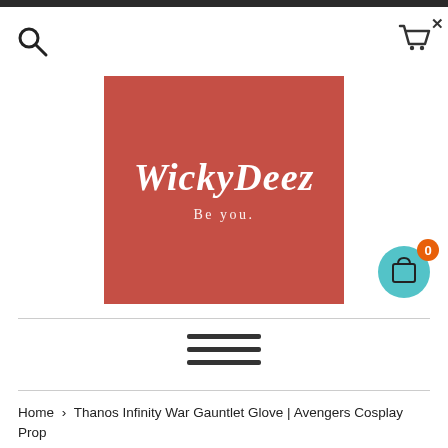[Figure (logo): WickyDeez logo — red/coral square background with white cursive text 'WickyDeez' and tagline 'Be you.']
[Figure (infographic): Teal circular shopping bag button with orange badge showing '0']
Home > Thanos Infinity War Gauntlet Glove | Avengers Cosplay Prop